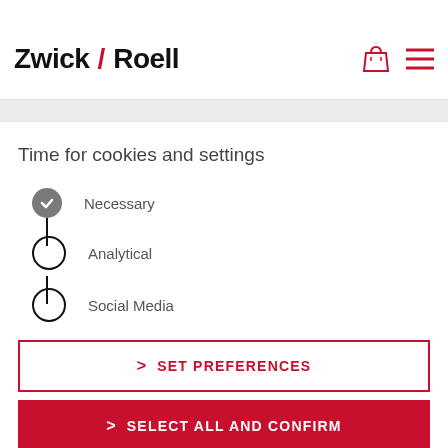[Figure (logo): ZwickRoell logo with red diagonal slash between Zwick and Roell wordmark]
[Figure (illustration): Red shopping bag icon and red hamburger menu icon in top right of header]
Time for cookies and settings
Necessary (checked)
Analytical (unchecked)
Social Media (unchecked)
> SET PREFERENCES
> SELECT ALL AND CONFIRM